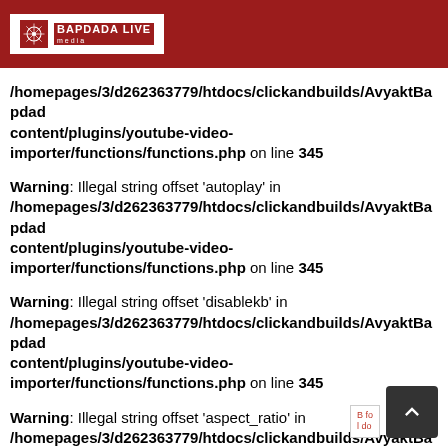BAPDADA LIVE media
/homepages/3/d262363779/htdocs/clickandbuilds/AvyaktBapdad content/plugins/youtube-video-importer/functions/functions.php on line 345
Warning: Illegal string offset 'autoplay' in /homepages/3/d262363779/htdocs/clickandbuilds/AvyaktBapdad content/plugins/youtube-video-importer/functions/functions.php on line 345
Warning: Illegal string offset 'disablekb' in /homepages/3/d262363779/htdocs/clickandbuilds/AvyaktBapdad content/plugins/youtube-video-importer/functions/functions.php on line 345
Warning: Illegal string offset 'aspect_ratio' in /homepages/3/d262363779/htdocs/clickandbuilds/AvyaktBapdad